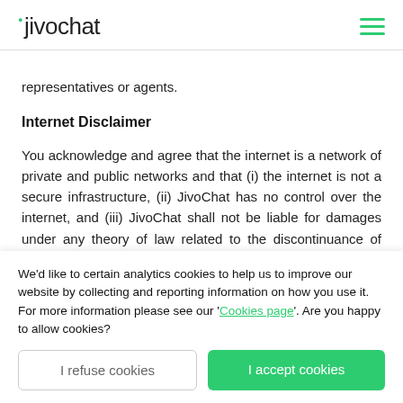jivochat
representatives or agents.
Internet Disclaimer
You acknowledge and agree that the internet is a network of private and public networks and that (i) the internet is not a secure infrastructure, (ii) JivoChat has no control over the internet, and (iii) JivoChat shall not be liable for damages under any theory of law related to the discontinuance of operation of any portion of the internet
We'd like to certain analytics cookies to help us to improve our website by collecting and reporting information on how you use it. For more information please see our 'Cookies page'. Are you happy to allow cookies?